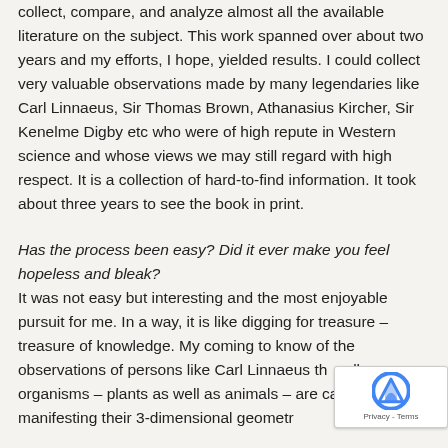collect, compare, and analyze almost all the available literature on the subject.  This work spanned over about two years and my efforts, I hope, yielded results. I could collect very valuable observations made by many legendaries like Carl Linnaeus, Sir Thomas Brown, Athanasius Kircher,  Sir Kenelme Digby etc who were of high repute in Western science and whose views we may still regard with high respect. It is a collection of hard-to-find information. It took about three years to see the book in print.
Has the process been easy? Did it ever make you feel hopeless and bleak? It was not easy but interesting and the most enjoyable pursuit for me. In a way, it is like digging for treasure – treasure of knowledge. My coming to know of the observations of persons like Carl Linnaeus th... all organisms – plants as well as animals – are capable of manifesting their 3-dimensional geometr...